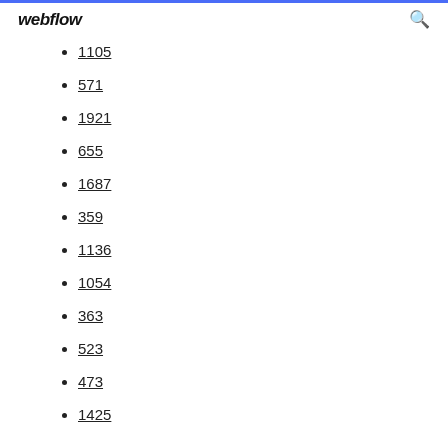webflow
1105
571
1921
655
1687
359
1136
1054
363
523
473
1425